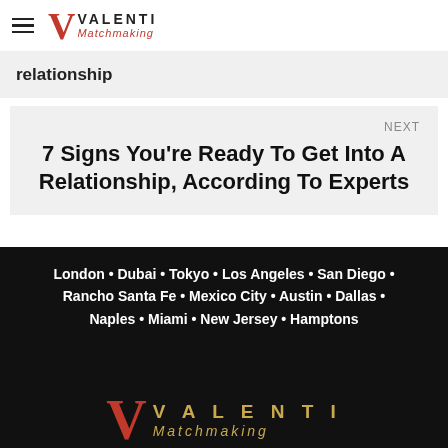VALENTI Matchmaking
relationship
NEXT
7 Signs You're Ready To Get Into A Relationship, According To Experts
London • Dubai • Tokyo • Los Angeles • San Diego • Rancho Santa Fe • Mexico City • Austin • Dallas • Naples • Miami • New Jersey • Hamptons
[Figure (logo): Valenti Matchmaking logo with large red V and gold text on black background]